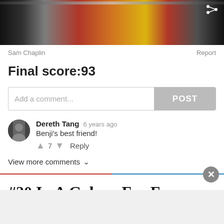[Figure (photo): Partial photo strip at top showing a ceremonial carriage or royal procession scene with red/gold decorations and dark background]
Sam Chaplin
Report
Final score:93
Add a comment...
POST
Dereth Tang  6 years ago
Benji's best friend!
7  Reply
View more comments
#20 In A Galaxy Far Far Away